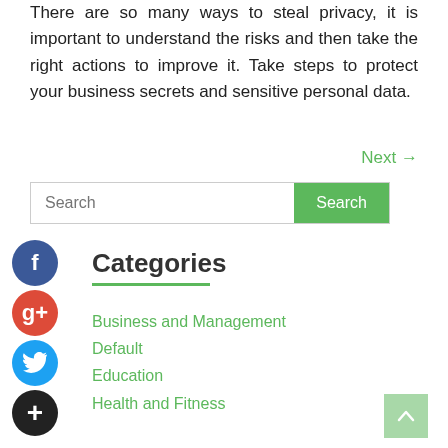There are so many ways to steal privacy, it is important to understand the risks and then take the right actions to improve it. Take steps to protect your business secrets and sensitive personal data.
Next →
[Figure (other): Search bar with text input and green Search button]
[Figure (other): Social media share icons: Facebook (blue circle with f), Google+ (red circle with g+), Twitter (blue circle with bird), Add/Plus (dark circle with +)]
Categories
Business and Management
Default
Education
Health and Fitness
[Figure (other): Scroll to top button (light green square with up arrow)]